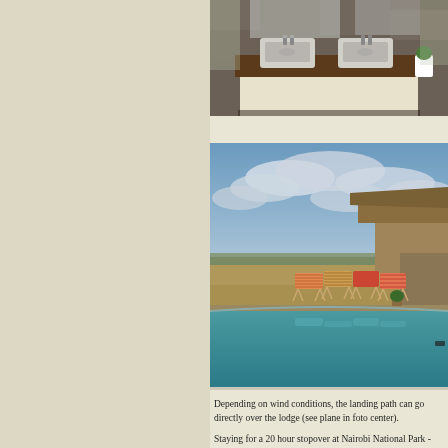[Figure (photo): Interior bathroom photo showing two white rectangular vessel sinks on a wooden vanity counter with stone walls in the background and a mirror above]
[Figure (photo): Outdoor pool area at a safari lodge with deckchairs (striped orange/pink fabric) lined up beside the pool, a thatched-roof building on the right, and open savanna with cloudy sky in the background]
Depending on wind conditions, the landing path can go directly over the lodge (see plane in foto center).
Staying for a 20 hour stopover at Nairobi National Park - and making